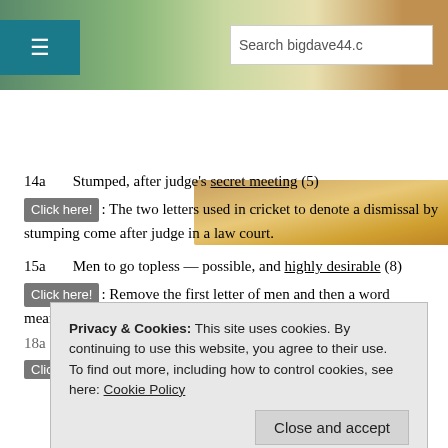[Figure (screenshot): Website header with landscape background, teal hamburger menu bar, and search box reading 'Search bigdave44.c']
[Figure (photo): Close-up photo of cheese or food item on wooden surface]
14a   Stumped, after judge's secret meeting (5)
Click here!: The two letters used in cricket to denote a dismissal by stumping come after judge in a law court.
15a   Men to go topless — possible, and highly desirable (8)
Click here!: Remove the first letter of men and then a word meaning possible or able to be carried out.
18a
Clic
Privacy & Cookies: This site uses cookies. By continuing to use this website, you agree to their use. To find out more, including how to control cookies, see here: Cookie Policy
Close and accept
[Figure (photo): Partial view of a roulette wheel at the bottom of the page]